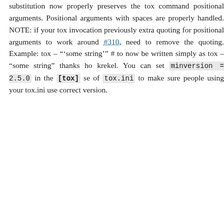substitution now properly preserves the tox command positional arguments. Positional arguments with spaces are properly handled. NOTE: if your tox invocation previously extra quoting for positional arguments to work around #310, need to remove the quoting. Example: tox – "'some string'" to now be written simply as tox – "some string" thanks krekel. You can set minversion = 2.5.0 in the [tox] section of tox.ini to make sure people using your tox.ini use correct version.
fix #359: add COMSPEC to default passenv on windows. Thanks @anthrotype.
add support for py36 and py37 and add py36-dev py37(nightly) to travis builds of tox. Thanks John Vandenberg
fix #348: add py2 and py3 as default environments pointing "python2" and "python3" basepython executables. Also fix by updating the list of default envs in the example. Thanks Tobias McNulty.
make "-h" and "–help-ini" options work even if there is no tox.ini. thanks holger krekel.